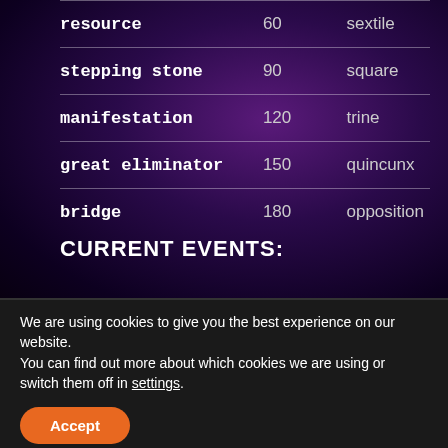| resource | 60 | sextile |
| stepping stone | 90 | square |
| manifestation | 120 | trine |
| great eliminator | 150 | quincunx |
| bridge | 180 | opposition |
CURRENT EVENTS:
We are using cookies to give you the best experience on our website.
You can find out more about which cookies we are using or switch them off in settings.